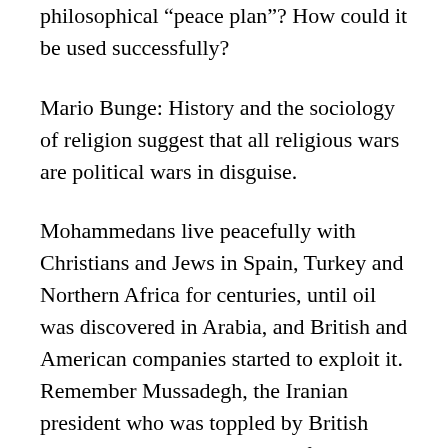philosophical “peace plan”? How could it be used successfully?
Mario Bunge: History and the sociology of religion suggest that all religious wars are political wars in disguise.
Mohammedans live peacefully with Christians and Jews in Spain, Turkey and Northern Africa for centuries, until oil was discovered in Arabia, and British and American companies started to exploit it. Remember Mussadegh, the Iranian president who was toppled by British Petroleum Co, with the help of the American “intelligence” agency, when he announced his intention to nationalize Iranian oil. Whom did